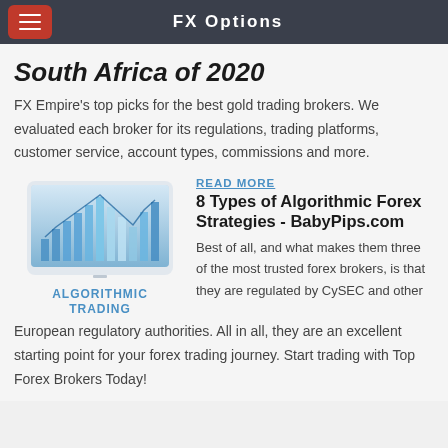FX Options
South Africa of 2020
FX Empire's top picks for the best gold trading brokers. We evaluated each broker for its regulations, trading platforms, customer service, account types, commissions and more.
[Figure (illustration): Illustration of a tablet displaying bar charts and financial graphs, representing algorithmic trading visuals. Below the image text reads ALGORITHMIC TRADING in blue uppercase letters.]
READ MORE
8 Types of Algorithmic Forex Strategies - BabyPips.com
Best of all, and what makes them three of the most trusted forex brokers, is that they are regulated by CySEC and other European regulatory authorities. All in all, they are an excellent starting point for your forex trading journey. Start trading with Top Forex Brokers Today!